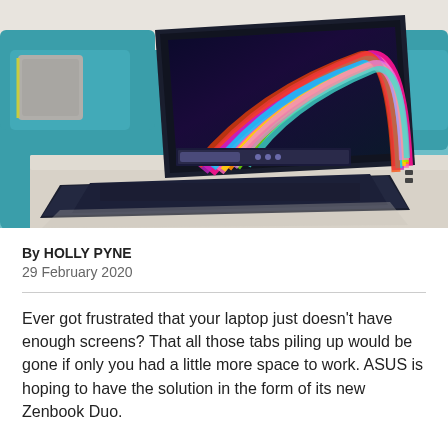[Figure (photo): ASUS Zenbook Duo laptop open on a table in front of a teal sofa, showing a colorful swirling wallpaper on the main screen and a secondary ScreenPad Plus display below the keyboard.]
By HOLLY PYNE
29 February 2020
Ever got frustrated that your laptop just doesn't have enough screens? That all those tabs piling up would be gone if only you had a little more space to work. ASUS is hoping to have the solution in the form of its new Zenbook Duo.